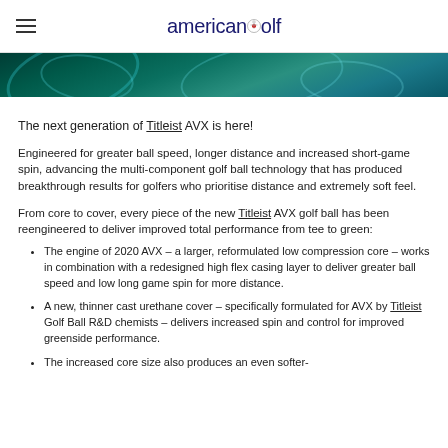americangolf
[Figure (photo): Banner image showing a swirling teal/green golf ball texture or abstract golf course graphic]
The next generation of Titleist AVX is here!
Engineered for greater ball speed, longer distance and increased short-game spin, advancing the multi-component golf ball technology that has produced breakthrough results for golfers who prioritise distance and extremely soft feel.
From core to cover, every piece of the new Titleist AVX golf ball has been reengineered to deliver improved total performance from tee to green:
The engine of 2020 AVX – a larger, reformulated low compression core – works in combination with a redesigned high flex casing layer to deliver greater ball speed and low long game spin for more distance.
A new, thinner cast urethane cover – specifically formulated for AVX by Titleist Golf Ball R&D chemists – delivers increased spin and control for improved greenside performance.
The increased core size also produces an even softer-